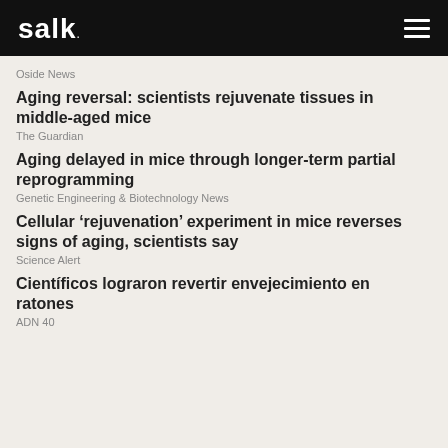salk.
Oside News
Aging reversal: scientists rejuvenate tissues in middle-aged mice
The Guardian
Aging delayed in mice through longer-term partial reprogramming
Genetic Engineering & Biotechnology News
Cellular 'rejuvenation' experiment in mice reverses signs of aging, scientists say
Science Alert
Científicos lograron revertir envejecimiento en ratones
ADN 40